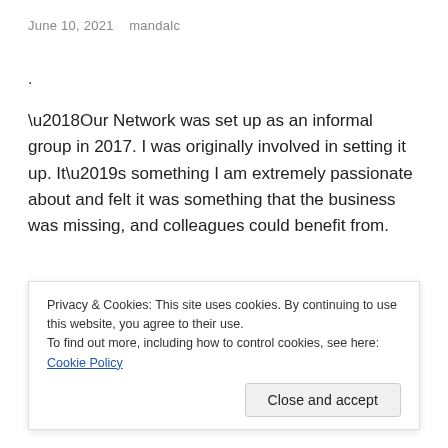June 10, 2021   mandalc
.
‘Our Network was set up as an informal group in 2017. I was originally involved in setting it up. It’s something I am extremely passionate about and felt it was something that the business was missing, and colleagues could benefit from.
When we started the group, we attended Student Pride and in talking to other companies there, it became clear...
Privacy & Cookies: This site uses cookies. By continuing to use this website, you agree to their use.
To find out more, including how to control cookies, see here: Cookie Policy
Close and accept
where over 200 colleagues attended. Over the years we have...